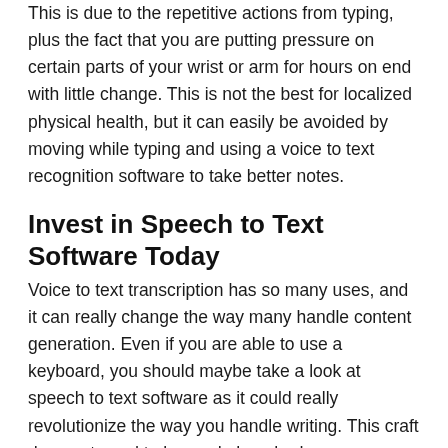This is due to the repetitive actions from typing, plus the fact that you are putting pressure on certain parts of your wrist or arm for hours on end with little change. This is not the best for localized physical health, but it can easily be avoided by moving while typing and using a voice to text recognition software to take better notes.
Invest in Speech to Text Software Today
Voice to text transcription has so many uses, and it can really change the way many handle content generation. Even if you are able to use a keyboard, you should maybe take a look at speech to text software as it could really revolutionize the way you handle writing. This craft does not need to be made hunched over a keyboard working on something endlessly. You can now create your best piece without even having to be anywhere near a pen or a keyboard.